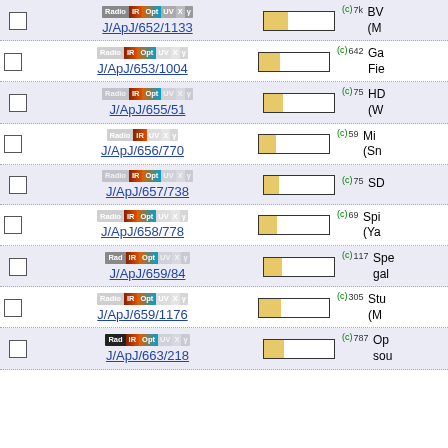J/ApJ/652/1133 (c) 7k BV... (M...
J/ApJ/653/1004 (c) 642 Ga... Fie...
J/ApJ/655/51 (c) 75 HD... (W...
J/ApJ/656/770 (c) 59 Mi... (Sn...
J/ApJ/657/738 (c) 75 SD...
J/ApJ/658/778 (c) 69 Spi... (Ya...
J/ApJ/659/84 (c) 117 Spe... gal...
J/ApJ/659/1176 (c) 305 Stu... (M...
J/ApJ/663/218 (c) 787 Op... sou...